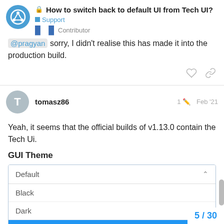🔒 How to switch back to default UI from Tech UI? — Support — Contributor
@pragyan sorry, I didn't realise this has made it into the production build.
tomasz86 — 1 edit — Feb '21
Yeah, it seems that the official builds of v1.13.0 contain the Tech Ui.
GUI Theme
[Figure (screenshot): Dropdown menu showing GUI Theme options: Default (selected), Black, Dark, Default (highlighted in blue)]